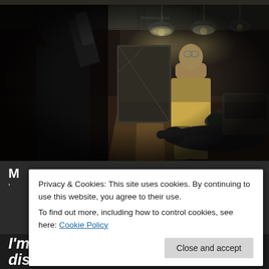[Figure (photo): A dramatic scene from a TV show or film showing a figure in a tan jacket standing in a dimly lit room, with another person on the ground. A third person is visible from behind on the left holding something up. Industrial/warehouse setting with overhead lights.]
Privacy & Cookies: This site uses cookies. By continuing to use this website, you agree to their use.
To find out more, including how to control cookies, see here: Cookie Policy
Close and accept
I'm sure there was a lot of discussion as